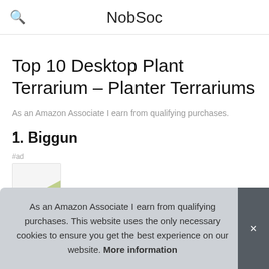NobSoc
Top 10 Desktop Plant Terrarium – Planter Terrariums
As an Amazon Associate I earn from qualifying purchases.
1. Biggun
#ad
As an Amazon Associate I earn from qualifying purchases. This website uses the only necessary cookies to ensure you get the best experience on our website. More information